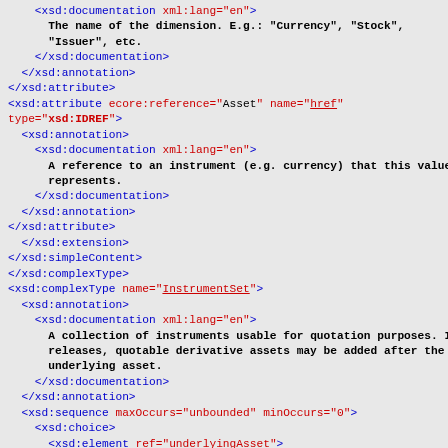XML schema code snippet showing xsd:documentation, xsd:annotation, xsd:attribute, xsd:complexType for InstrumentSet, xsd:sequence, xsd:choice, xsd:element elements with documentation strings.